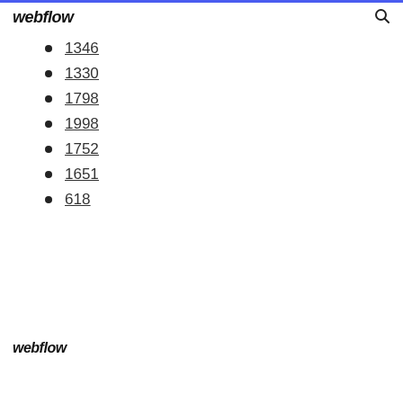webflow
1346
1330
1798
1998
1752
1651
618
webflow